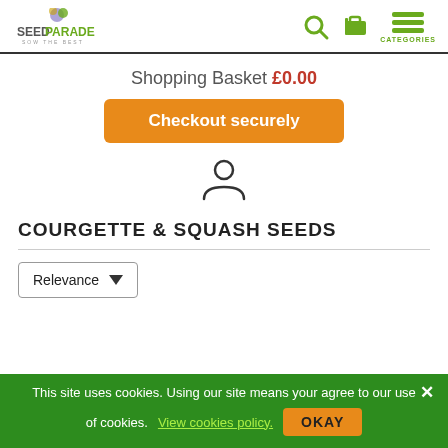SEEDPARADE - SOW THE BEST [logo with search, cart, categories icons]
Shopping Basket £0.00
Checkout securely
[Figure (illustration): User/person account icon]
COURGETTE & SQUASH SEEDS
Relevance (dropdown)
This site uses cookies. Using our site means your agree to our use of cookies. View cookies policy. OKAY